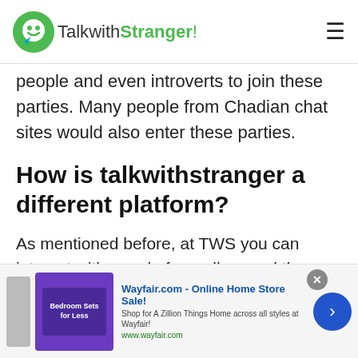TalkwithStranger!
people and even introverts to join these parties. Many people from Chadian chat sites would also enter these parties.
How is talkwithstranger a different platform?
As mentioned before, at TWS you can interact with people from all around the world. You can chat with people of Chad and video chat with random people of Chad. However, with these features, there also are several other features that make the talk with
[Figure (screenshot): Wayfair.com advertisement banner showing bedroom furniture with text 'Wayfair.com - Online Home Store Sale!' and shop description]